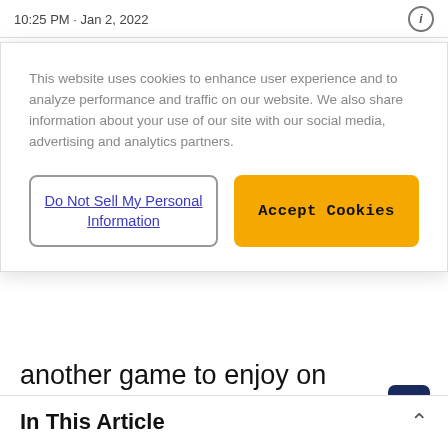10:25 PM · Jan 2, 2022
This website uses cookies to enhance user experience and to analyze performance and traffic on our website. We also share information about your use of our site with our social media, advertising and analytics partners.
Do Not Sell My Personal Information
Accept Cookies
another game to enjoy on Wednesday. Both teams can compete in the Western Conference, even if they are not considered favourites to win it, and this part of the season is all about getting position in the playoffs.
Starting the week, Utah are 3rd while Denver are in 5th
In This Article